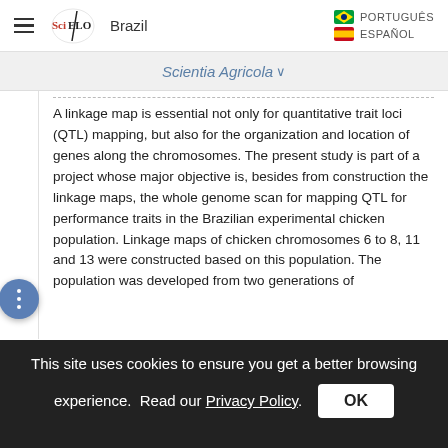SciELO Brazil | PORTUGUÊS | ESPAÑOL
Scientia Agricola
A linkage map is essential not only for quantitative trait loci (QTL) mapping, but also for the organization and location of genes along the chromosomes. The present study is part of a project whose major objective is, besides from construction the linkage maps, the whole genome scan for mapping QTL for performance traits in the Brazilian experimental chicken population. Linkage maps of chicken chromosomes 6 to 8, 11 and 13 were constructed based on this population. The population was developed from two generations of
This site uses cookies to ensure you get a better browsing experience. Read our Privacy Policy. OK